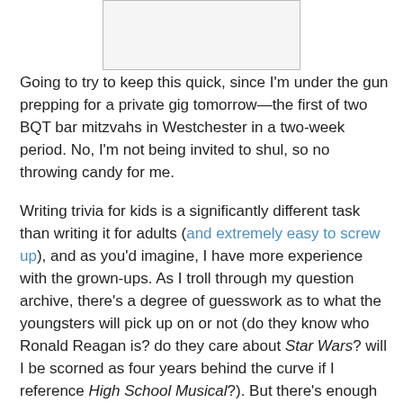[Figure (other): A white/light gray rectangular image placeholder with a thin border, partially visible at the top of the page.]
Going to try to keep this quick, since I'm under the gun prepping for a private gig tomorrow—the first of two BQT bar mitzvahs in Westchester in a two-week period. No, I'm not being invited to shul, so no throwing candy for me.
Writing trivia for kids is a significantly different task than writing it for adults (and extremely easy to screw up), and as you'd imagine, I have more experience with the grown-ups. As I troll through my question archive, there's a degree of guesswork as to what the youngsters will pick up on or not (do they know who Ronald Reagan is? do they care about Star Wars? will I be scorned as four years behind the curve if I reference High School Musical?). But there's enough in there that I always find plenty of material with that special Big Quiz Thing better-than-averageness.
Still, many questions have to be tweaked for under-18 purposes. Take this one:
Q: In advertisements, the green one is the only